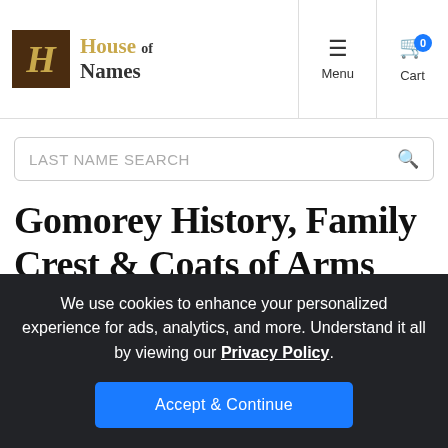House of Names — Menu | Cart
LAST NAME SEARCH
Gomorey History, Family Crest & Coats of Arms
Origins Available: England
We use cookies to enhance your personalized experience for ads, analytics, and more. Understand it all by viewing our Privacy Policy. Accept & Continue